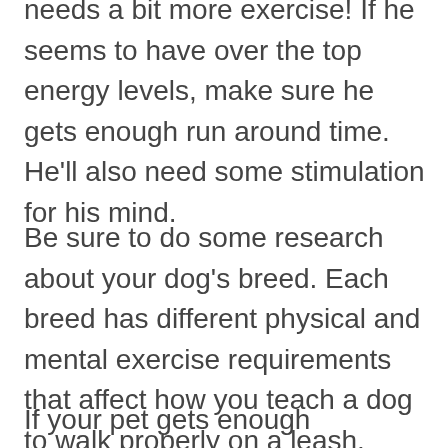needs a bit more exercise! If he seems to have over the top energy levels, make sure he gets enough run around time. He'll also need some stimulation for his mind.
Be sure to do some research about your dog's breed. Each breed has different physical and mental exercise requirements that affect how you teach a dog to walk properly on a leash.
If your pet gets enough exercise, but